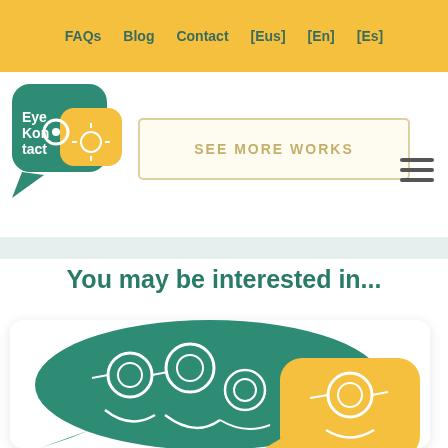FAQs   Blog   Contact   [Eus]   [En]   [Es]
[Figure (logo): EyeKontact logo: teal speech bubble with glasses and yellow speech bubble]
SEE MORE WORKS
You may be interested in...
[Figure (illustration): Illustration of overlapping speech bubbles in teal and yellow with white outline figures of people wearing glasses]